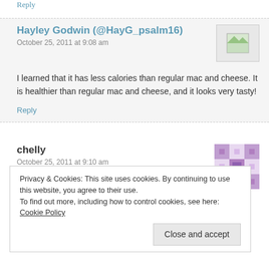Reply
Hayley Godwin (@HayG_psalm16)
October 25, 2011 at 9:08 am
I learned that it has less calories than regular mac and cheese. It is healthier than regular mac and cheese, and it looks very tasty!
Reply
chelly
October 25, 2011 at 9:10 am
i learned that you need a too add sliced onions and garlic.
Privacy & Cookies: This site uses cookies. By continuing to use this website, you agree to their use.
To find out more, including how to control cookies, see here: Cookie Policy
Close and accept